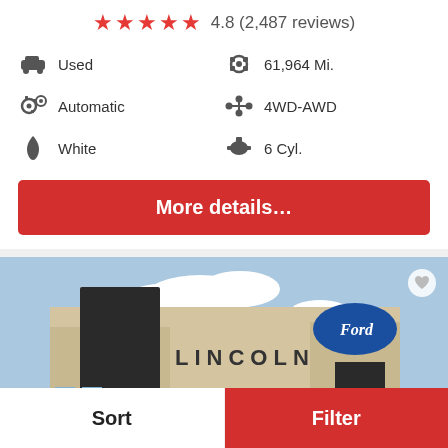★★★★★ 4.8 (2,487 reviews)
Used
61,964 Mi.
Automatic
4WD-AWD
White
6 Cyl.
More details…
[Figure (photo): A dark-colored Porsche Cayman parked in front of a Lincoln/Ford dealership building with blue sky background]
Sort
Filter